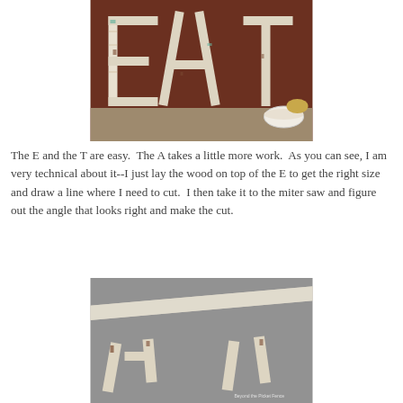[Figure (photo): Photograph of three large rustic wooden letters spelling EAT, painted white with distressed/chippy paint look, standing against a dark brown wall with some bowls visible in the background on a wooden surface.]
The E and the T are easy.  The A takes a little more work.  As you can see, I am very technical about it--I just lay the wood on top of the E to get the right size and draw a line where I need to cut.  I then take it to the miter saw and figure out the angle that looks right and make the cut.
[Figure (photo): Photograph showing disassembled wooden letter pieces for the A letter, laid out on a gray surface. White painted boards at angles with brown wood visible, showing the cutting process for making the letter A.]